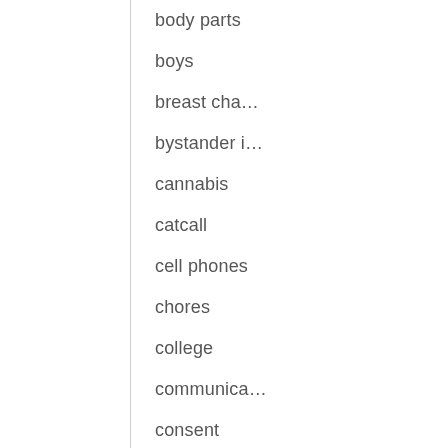body parts
boys
breast cha…
bystander i…
cannabis
catcall
cell phones
chores
college
communica…
consent
conversatio…
COVID-19
cyberbullying
dating